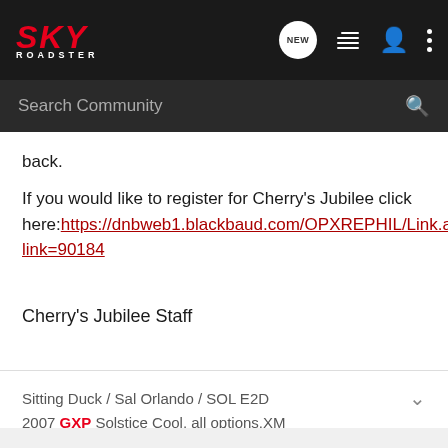[Figure (screenshot): Sky Roadster community forum navigation bar with logo, NEW chat bubble, list icon, user icon, and more options icon]
Search Community
back.
If you would like to register for Cherry's Jubilee click here: https://dnbweb1.blackbaud.com/OPXREPHIL/Link.asp?link=90184
Cherry's Jubilee Staff
Sitting Duck / Sal Orlando / SOL E2D
2007 GXP Solstice Cool, all options,XM